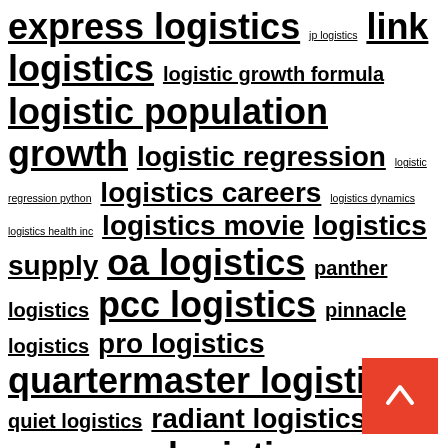express logistics jp logistics link logistics logistic growth formula logistic population growth logistic regression logistic regression python logistics careers logistics dynamics logistics health inc logistics movie logistics supply oa logistics panther logistics pcc logistics pinnacle logistics pro logistics quartermaster logistics quiet logistics radiant logistics recovery logistics reverse logistics rls logistics romark logistics spartan logistics temco logistics transport logistics us logistics wow logistics xpo logistics yusen logistics zenith logistics